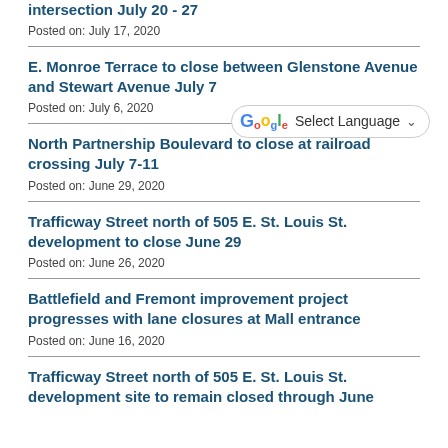intersection July 20 - 27
Posted on: July 17, 2020
E. Monroe Terrace to close between Glenstone Avenue and Stewart Avenue July 7
Posted on: July 6, 2020
[Figure (other): Google Translate Select Language dropdown widget]
North Partnership Boulevard to close at railroad crossing July 7-11
Posted on: June 29, 2020
Trafficway Street north of 505 E. St. Louis St. development to close June 29
Posted on: June 26, 2020
Battlefield and Fremont improvement project progresses with lane closures at Mall entrance
Posted on: June 16, 2020
Trafficway Street north of 505 E. St. Louis St. development site to remain closed through June